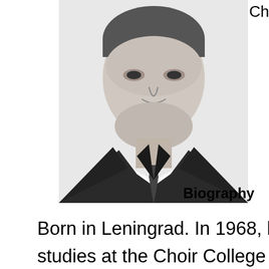[Figure (photo): Black and white portrait photo of a middle-aged man in a suit, looking at the camera with a neutral expression.]
Chief Chor
Biography
Born in Leningrad. In 1968, he c studies at the Choir College Leningrad's Academic Glinka Cap graduate of two faculties of th Rimsky-Korsakov State Conser faculty of choral conducting (19